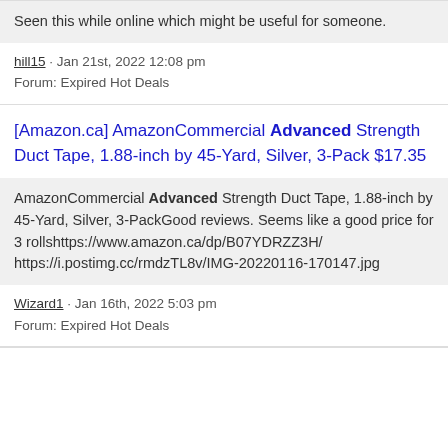Seen this while online which might be useful for someone.
hill15 · Jan 21st, 2022 12:08 pm
Forum: Expired Hot Deals
[Amazon.ca] AmazonCommercial Advanced Strength Duct Tape, 1.88-inch by 45-Yard, Silver, 3-Pack $17.35
AmazonCommercial Advanced Strength Duct Tape, 1.88-inch by 45-Yard, Silver, 3-PackGood reviews. Seems like a good price for 3 rollshttps://www.amazon.ca/dp/B07YDRZZ3H/ https://i.postimg.cc/rmdzTL8v/IMG-20220116-170147.jpg
Wizard1 · Jan 16th, 2022 5:03 pm
Forum: Expired Hot Deals